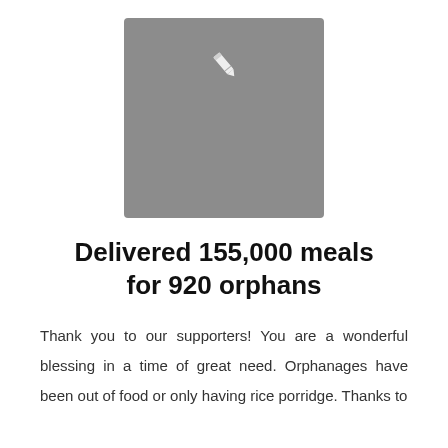[Figure (illustration): Gray square placeholder image with a white pencil/edit icon in the upper center area]
Delivered 155,000 meals for 920 orphans
Thank you to our supporters! You are a wonderful blessing in a time of great need. Orphanages have been out of food or only having rice porridge. Thanks to